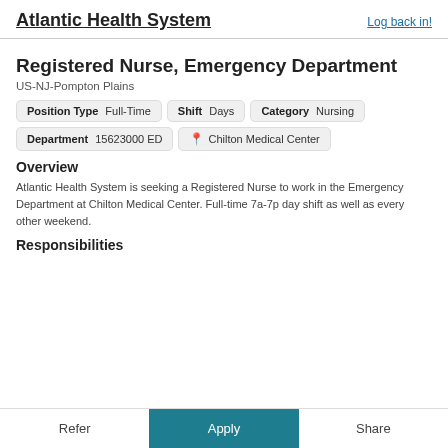Atlantic Health System
Log back in!
Registered Nurse, Emergency Department
US-NJ-Pompton Plains
Position Type  Full-Time   Shift  Days   Category  Nursing
Department  15623000 ED   Chilton Medical Center
Overview
Atlantic Health System is seeking a Registered Nurse to work in the Emergency Department at Chilton Medical Center. Full-time 7a-7p day shift as well as every other weekend.
Responsibilities
Refer   Apply   Share